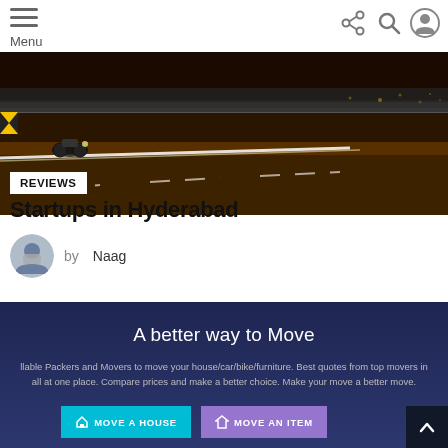Menu
[Figure (photo): Night road photo with yellow chevron barriers and light trails on highway]
REVIEWS
Startups in Hyderabad
by Naag
[Figure (screenshot): Dark blue promo panel: 'A better way to Move' with text about Packers and Movers and two buttons: MOVE A HOUSE and MOVE AN ITEM]